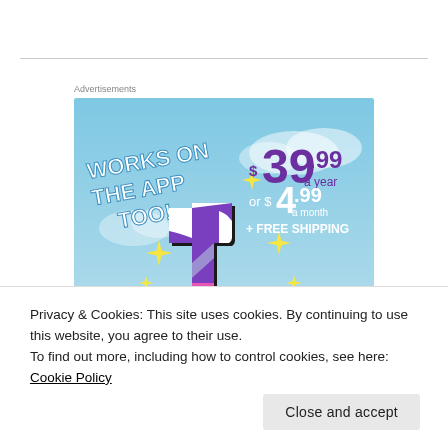Advertisements
[Figure (illustration): Tumblr Ad-Free subscription advertisement banner with sky blue background. Shows 'WORKS ON THE APP TOO!' text in white, Tumblr 't' logo in pink/purple, yellow sparkle stars, and pricing: $39.99 a year or $4.99 a month + FREE SHIPPING. Bottom shows 'TUMBLR AD FREE' text partially visible.]
Privacy & Cookies: This site uses cookies. By continuing to use this website, you agree to their use.
To find out more, including how to control cookies, see here: Cookie Policy